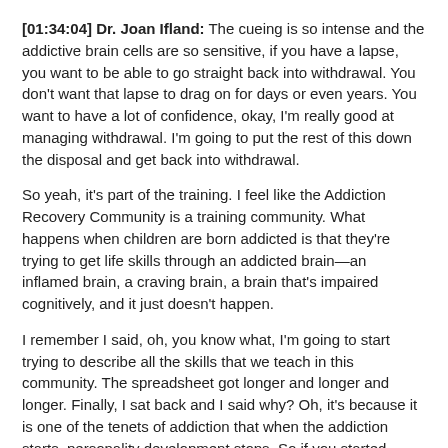[01:34:04] Dr. Joan Ifland: The cueing is so intense and the addictive brain cells are so sensitive, if you have a lapse, you want to be able to go straight back into withdrawal. You don't want that lapse to drag on for days or even years. You want to have a lot of confidence, okay, I'm really good at managing withdrawal. I'm going to put the rest of this down the disposal and get back into withdrawal.
So yeah, it's part of the training. I feel like the Addiction Recovery Community is a training community. What happens when children are born addicted is that they're trying to get life skills through an addicted brain—an inflamed brain, a craving brain, a brain that's impaired cognitively, and it just doesn't happen.
I remember I said, oh, you know what, I'm going to start trying to describe all the skills that we teach in this community. The spreadsheet got longer and longer and longer. Finally, I sat back and I said why? Oh, it's because it is one of the tenets of addiction that when the addiction starts, personality development stops. So if you started drinking at age 13, you have a different recovery than somebody who starts drinking heavily in their late 20s. You've just missed 15 years of personality development. Well, we never get any.
I've been in New York now for four years. I have a very, very traumatic upbringing. I had that raging mother, I had a raging father. I had a raging older sister. This is in the 1950s and already women were being positioned, oh, modern women use convenience foods. We had Crisco, cake mixes, Tang, juice concentrates, jelly, white bread, and Velveeta cheese. We had all those